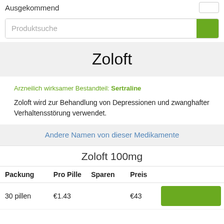Ausgekommend
Produktsuche
Zoloft
Arzneilich wirksamer Bestandteil: Sertraline
Zoloft wird zur Behandlung von Depressionen und zwanghafter Verhaltensstörung verwendet.
Andere Namen von dieser Medikamente
Zoloft 100mg
| Packung | Pro Pille | Sparen | Preis |  |
| --- | --- | --- | --- | --- |
| 30 pillen | €1.43 |  | €43 |  |